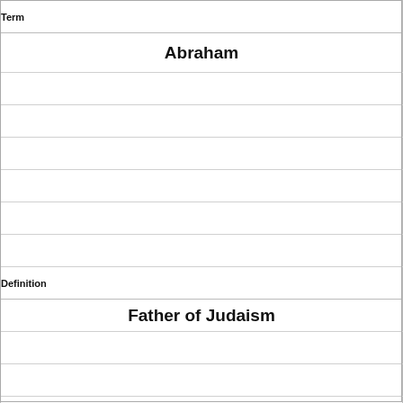Term
Abraham
Definition
Father of Judaism